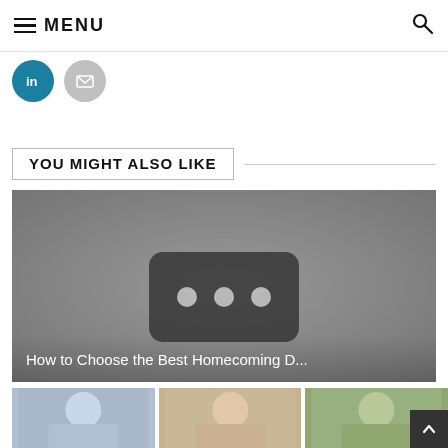MENU
[Figure (illustration): LinkedIn and email social share buttons (circular icons)]
YOU MIGHT ALSO LIKE
[Figure (screenshot): Video thumbnail placeholder with YouTube-style play button overlay and text 'How to Choose the Best Homecoming D...']
[Figure (photo): Three small thumbnail images in a row at the bottom of the page, showing fashion/lifestyle photos of people]